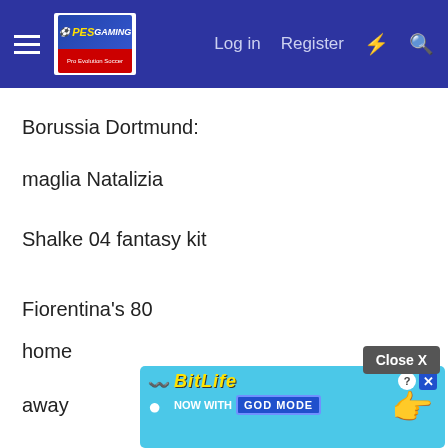PESGaming | Log in | Register
Borussia Dortmund:
maglia Natalizia
Shalke 04 fantasy kit
Fiorentina's 80
home
away
[Figure (screenshot): BitLife advertisement banner - 'BitLife Now with GOD MODE' on a light blue background with cartoon hand pointing]